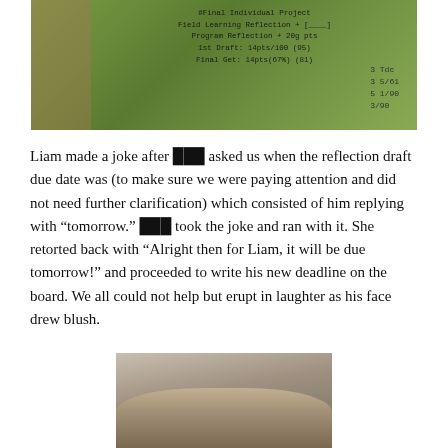[Figure (photo): Photo of a green chalkboard/whiteboard showing handwritten text about Final Individual Project, Field Learning Reflection, Program Reflection, due dates and points. A person is partially visible on the left side holding papers.]
Liam made a joke after ??? asked us when the reflection draft due date was (to make sure we were paying attention and did not need further clarification) which consisted of him replying with “tomorrow.” ??? took the joke and ran with it. She retorted back with “Alright then for Liam, it will be due tomorrow!” and proceeded to write his new deadline on the board. We all could not help but erupt in laughter as his face drew blush.
[Figure (photo): Close-up photo of a person with light/blonde hair, top of head visible, taken from above.]